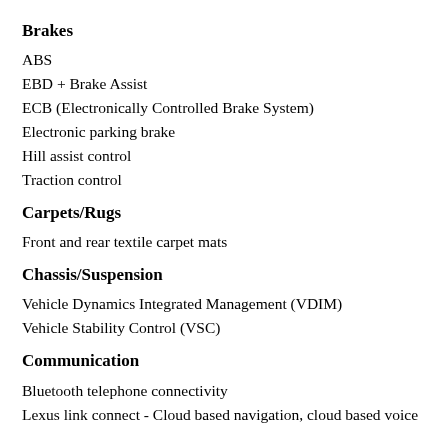Brakes
ABS
EBD + Brake Assist
ECB (Electronically Controlled Brake System)
Electronic parking brake
Hill assist control
Traction control
Carpets/Rugs
Front and rear textile carpet mats
Chassis/Suspension
Vehicle Dynamics Integrated Management (VDIM)
Vehicle Stability Control (VSC)
Communication
Bluetooth telephone connectivity
Lexus link connect - Cloud based navigation, cloud based voice